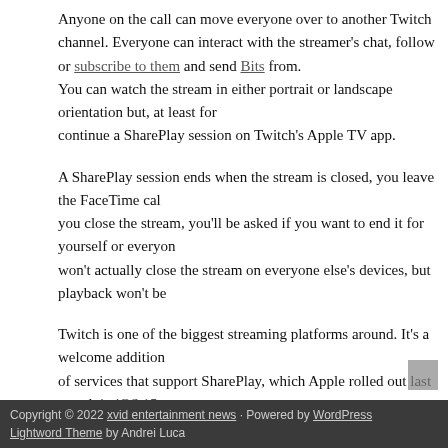Anyone on the call can move everyone over to another Twitch channel. Everyone can interact with the streamer's chat, follow or subscribe to them and send Bits from. You can watch the stream in either portrait or landscape orientation but, at least for now, you can't continue a SharePlay session on Twitch's Apple TV app.
A SharePlay session ends when the stream is closed, you leave the FaceTime call, or when you close the stream, you'll be asked if you want to end it for yourself or everyone. Doing so won't actually close the stream on everyone else's devices, but playback won't be
Twitch is one of the biggest streaming platforms around. It's a welcome addition to the list of services that support SharePlay, which Apple rolled out last month in iOS 15. Grab a group of friends on a FaceTime call to watch some killer speedruns at Awesome Games Done Quick — it's like a fun way to spend time together, even when you're in your own homes.
Article source: https://www.engadget.com/twitch-shareplay-iphone-ipad-facetime- src=rss
Filed under: Tecnology
Copyright © 2022 xvid entertainment news · Powered by WordPress Lightword Theme by Andrei Luca